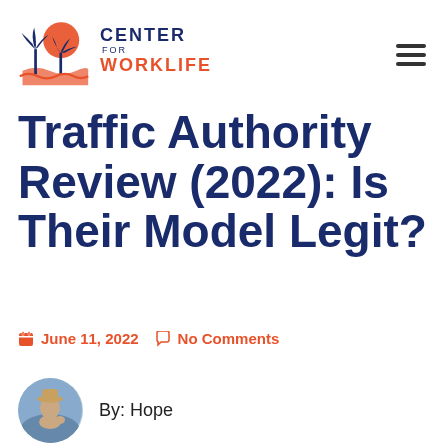Center for Worklife
Traffic Authority Review (2022): Is Their Model Legit?
June 11, 2022   No Comments
By: Hope